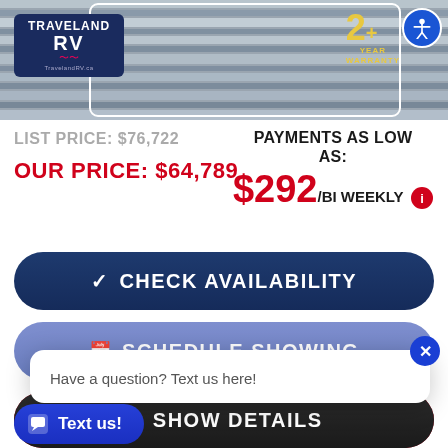[Figure (photo): Traveland RV dealership photo showing RV exterior with metallic/silver siding stripes. Logo in top-left corner. 2+ Year Warranty badge in top-right. Accessibility icon in corner.]
LIST PRICE: $76,722
OUR PRICE: $64,789
PAYMENTS AS LOW AS: $292/BI WEEKLY
✓ CHECK AVAILABILITY
SCHEDULE SHOWING
Have a question? Text us here!
APPLY FOR FINANCING
SHOW DETAILS
Text us!